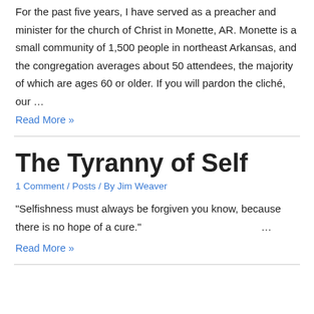For the past five years, I have served as a preacher and minister for the church of Christ in Monette, AR. Monette is a small community of 1,500 people in northeast Arkansas, and the congregation averages about 50 attendees, the majority of which are ages 60 or older. If you will pardon the cliché, our …
Read More »
The Tyranny of Self
1 Comment / Posts / By Jim Weaver
"Selfishness must always be forgiven you know, because there is no hope of a cure." …
Read More »